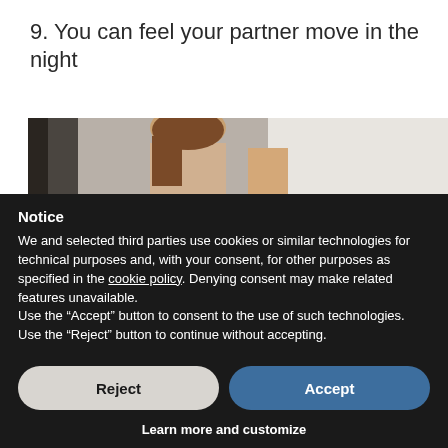9. You can feel your partner move in the night
[Figure (photo): Partial photo of a woman with brown hair and a person in a white shirt, upper body visible]
Notice
We and selected third parties use cookies or similar technologies for technical purposes and, with your consent, for other purposes as specified in the cookie policy. Denying consent may make related features unavailable.
Use the “Accept” button to consent to the use of such technologies. Use the “Reject” button to continue without accepting.
Reject
Accept
Learn more and customize